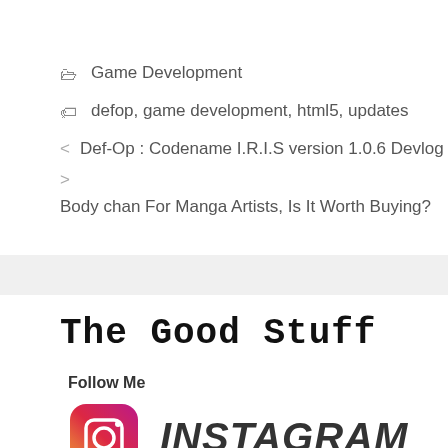Game Development
defop, game development, html5, updates
Def-Op : Codename I.R.I.S version 1.0.6 Devlog
Body chan For Manga Artists, Is It Worth Buying?
The Good Stuff
Follow Me
[Figure (logo): Instagram logo with pixel-art style icon and INSTAGRAM text]